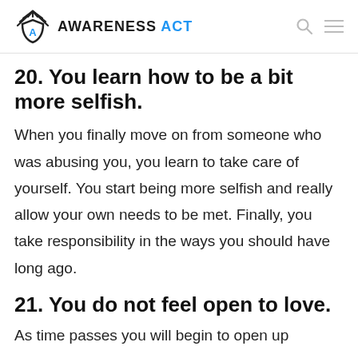AWARENESS ACT
20. You learn how to be a bit more selfish.
When you finally move on from someone who was abusing you, you learn to take care of yourself. You start being more selfish and really allow your own needs to be met. Finally, you take responsibility in the ways you should have long ago.
21. You do not feel open to love.
As time passes you will begin to open up